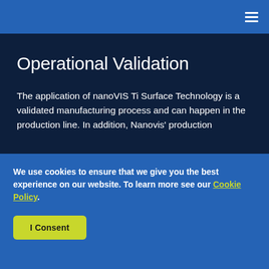≡
Operational Validation
The application of nanoVIS Ti Surface Technology is a validated manufacturing process and can happen in the production line. In addition, Nanovis' production
We use cookies to ensure that we give you the best experience on our website. To learn more see our Cookie Policy.
I Consent